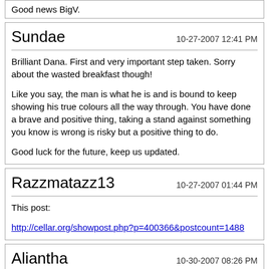Good news BigV.
Sundae
10-27-2007 12:41 PM
Brilliant Dana. First and very important step taken. Sorry about the wasted breakfast though!

Like you say, the man is what he is and is bound to keep showing his true colours all the way through. You have done a brave and positive thing, taking a stand against something you know is wrong is risky but a positive thing to do.

Good luck for the future, keep us updated.
Razzmatazz13
10-27-2007 01:44 PM
This post:
http://cellar.org/showpost.php?p=400366&postcount=1488
Aliantha
10-30-2007 08:26 PM
Our new little kitty cat has discovered a stash of baby toys that we keep under one of the spare beds for when little kids come over.